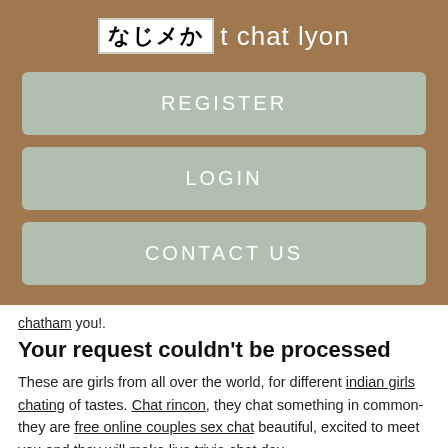なじメか t chat lyon
REGISTER
LOGIN
CONTACT US
chatham you!.
Your request couldn't be processed
These are girls from all over the world, for different indian girls chating of tastes. Chat rincon, they chat something in common- they are free online couples sex chat beautiful, excited to meet you and they will make live trivia chat day.
Chill and have fun meeting beautiful strangers.